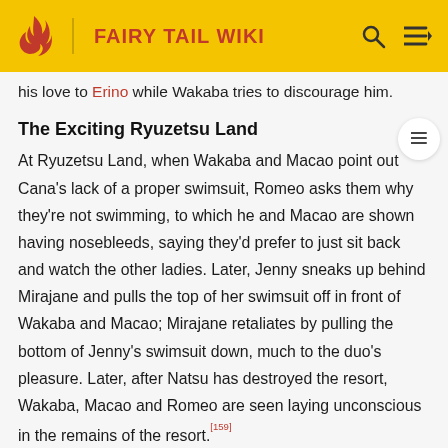FAIRY TAIL WIKI
his love to Erino while Wakaba tries to discourage him.
The Exciting Ryuzetsu Land
At Ryuzetsu Land, when Wakaba and Macao point out Cana's lack of a proper swimsuit, Romeo asks them why they're not swimming, to which he and Macao are shown having nosebleeds, saying they'd prefer to just sit back and watch the other ladies. Later, Jenny sneaks up behind Mirajane and pulls the top of her swimsuit off in front of Wakaba and Macao; Mirajane retaliates by pulling the bottom of Jenny's swimsuit down, much to the duo's pleasure. Later, after Natsu has destroyed the resort, Wakaba, Macao and Romeo are seen laying unconscious in the remains of the resort.[159]